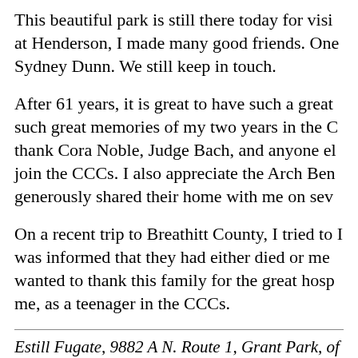This beautiful park is still there today for visi at Henderson, I made many good friends. One Sydney Dunn. We still keep in touch.
After 61 years, it is great to have such a great such great memories of my two years in the C thank Cora Noble, Judge Bach, and anyone el join the CCCs. I also appreciate the Arch Ben generously shared their home with me on sev
On a recent trip to Breathitt County, I tried to I was informed that they had either died or me wanted to thank this family for the great hosp me, as a teenager in the CCCs.
Estill Fugate, 9882 A N. Route 1, Grant Park, of Breathitt County, Kentucky, shares this stor readers.